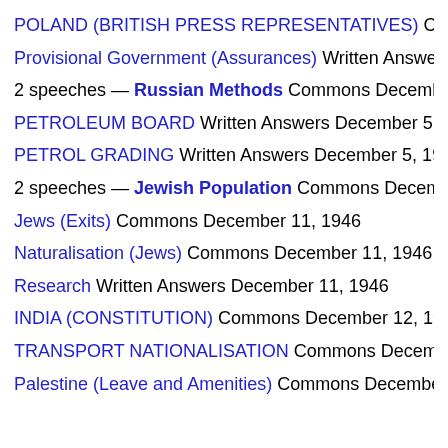POLAND (BRITISH PRESS REPRESENTATIVES) Commons
Provisional Government (Assurances) Written Answers Decem
2 speeches — Russian Methods Commons December 5, 194
PETROLEUM BOARD Written Answers December 5, 1946
PETROL GRADING Written Answers December 5, 1946
2 speeches — Jewish Population Commons December 11, 1
Jews (Exits) Commons December 11, 1946
Naturalisation (Jews) Commons December 11, 1946
Research Written Answers December 11, 1946
INDIA (CONSTITUTION) Commons December 12, 1946
TRANSPORT NATIONALISATION Commons December 17, 1
Palestine (Leave and Amenities) Commons December 17, 194